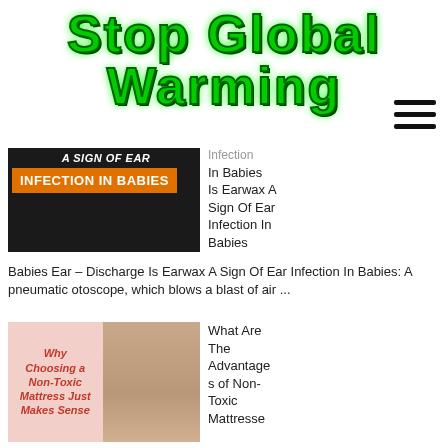Stop Global Warming
[Figure (screenshot): Article thumbnail showing dark background with orange bracket and text 'A Sign Of Ear Infection In Babies' in white on dark background]
Infection In Babies Is Earwax A Sign Of Ear Infection In Babies
Babies Ear – Discharge Is Earwax A Sign Of Ear Infection In Babies: A pneumatic otoscope, which blows a blast of air ...
[Figure (screenshot): Article thumbnail with pink background showing 'Why Choosing a Non-Toxic Mattress Just Makes Sense' in red text on left, and a woman with child on right]
What Are The Advantages of Non-Toxic Mattresse